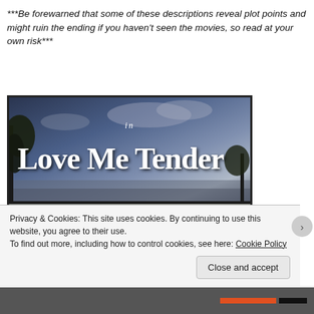***Be forewarned that some of these descriptions reveal plot points and might ruin the ending if you haven't seen the movies, so read at your own risk***
[Figure (screenshot): Black and white movie title card and still from 'Love Me Tender'. Top panel shows the movie title 'Love Me Tender' in large serif font with the word 'in' above it, set against a dramatic sky landscape. Bottom panel shows a young man wearing a cowboy hat in a rural outdoor setting.]
Privacy & Cookies: This site uses cookies. By continuing to use this website, you agree to their use.
To find out more, including how to control cookies, see here: Cookie Policy
Close and accept